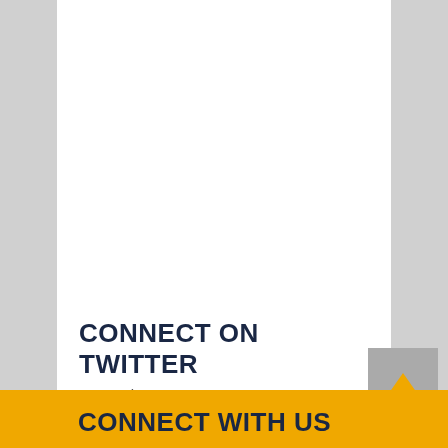CONNECT ON TWITTER
Tweets by RTBU
CONNECT WITH US